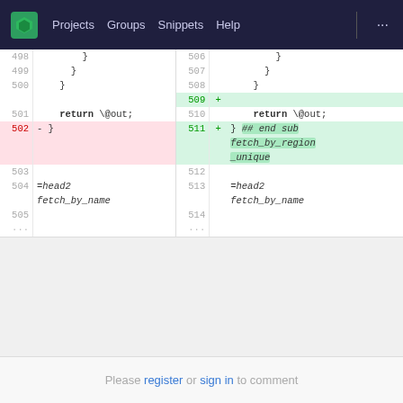Projects  Groups  Snippets  Help  ...
[Figure (screenshot): Git diff view showing code changes. Left side: line numbers 498-505 with original code (closing braces, return \@out;, closing brace deleted). Right side: line numbers 506-514 with new code including added blank line 509, return \@out;, ## end sub fetch_by_region_unique comment added. Lines 502 (deletion) and 509/511 (additions) are highlighted.]
Please register or sign in to comment